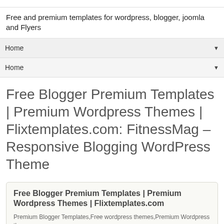Free and premium templates for wordpress, blogger, joomla and Flyers
Home ▼
Home ▼
Free Blogger Premium Templates | Premium Wordpress Themes | Flixtemplates.com: FitnessMag – Responsive Blogging WordPress Theme
Free Blogger Premium Templates | Premium Wordpress Themes | Flixtemplates.com
Premium Blogger Templates,Free wordpress themes,Premium Wordpress themes